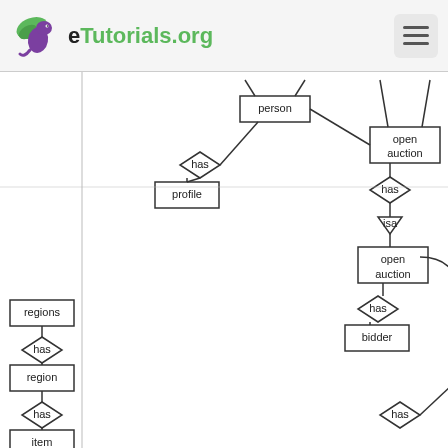eTutorials.org
[Figure (other): Entity-relationship diagram showing an auction database schema with entities: person, open auction, closed auction, edge, profile, open auction (sub), closed auction (sub), regions, region, item, bidder, price, auction, annotation, and relationships (has, isa) connecting them with diamond shapes and lines.]